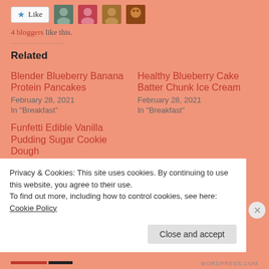[Figure (other): Like button with star icon and 4 blogger avatar thumbnails]
4 bloggers like this.
Related
Blender Blueberry Banana Protein Pancakes
February 28, 2021
In "Breakfast"
Healthy Blueberry Cake Batter Chunk Ice Cream
February 28, 2021
In "Breakfast"
Funfetti Edible Vanilla Pudding Sugar Cookie Dough
Privacy & Cookies: This site uses cookies. By continuing to use this website, you agree to their use.
To find out more, including how to control cookies, see here: Cookie Policy